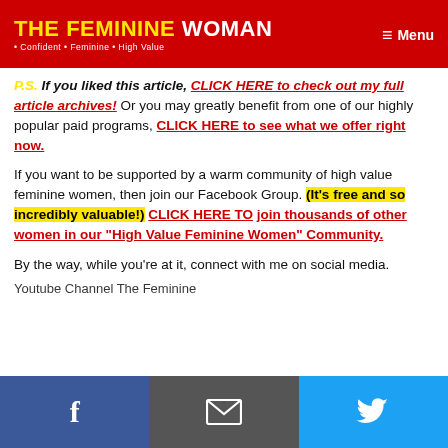THE FEMININE WOMAN • Confident • Feminine • High Value  ≡ Menu
P.S. If you liked this article, CLICK HERE to check out my full article archives! Or you may greatly benefit from one of our highly popular paid programs, CLICK HERE to see what we offer right now.
If you want to be supported by a warm community of high value feminine women, then join our Facebook Group. (It's free and so incredibly valuable!) CLICK HERE TO join thousands of other women in our "High Value Feminine Women" Community.
By the way, while you're at it, connect with me on social media.
Youtube Channel The Feminine…
f  [email]  🐦